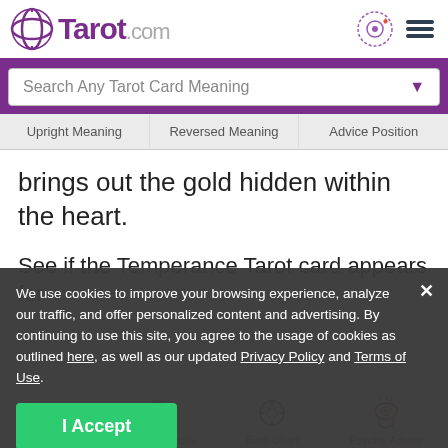Tarot.com
Search Any Tarot Card Meaning
Upright Meaning | Reversed Meaning | Advice Position
brings out the gold hidden within the heart.
See if the Temperance Tarot card appears for you.
We use cookies to improve your browsing experience, analyze our traffic, and offer personalized content and advertising. By continuing to use this site, you agree to the usage of cookies as outlined here, as well as our updated Privacy Policy and Terms of Use.
I Accept
Readings | Cards & Decks | Birth Chart | Psychic Advice